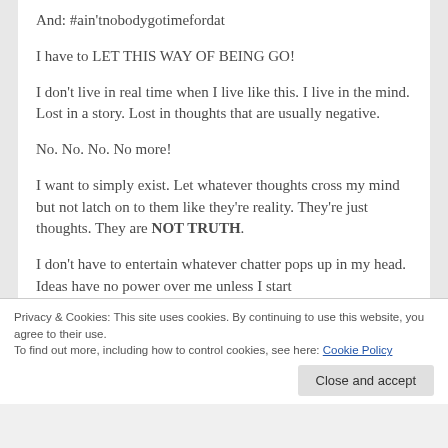And: #ain'tnobodygotimefordat
I have to LET THIS WAY OF BEING GO!
I don't live in real time when I live like this. I live in the mind. Lost in a story. Lost in thoughts that are usually negative.
No. No. No. No more!
I want to simply exist. Let whatever thoughts cross my mind but not latch on to them like they're reality. They're just thoughts. They are NOT TRUTH.
I don't have to entertain whatever chatter pops up in my head. Ideas have no power over me unless I start
Privacy & Cookies: This site uses cookies. By continuing to use this website, you agree to their use.
To find out more, including how to control cookies, see here: Cookie Policy
Close and accept